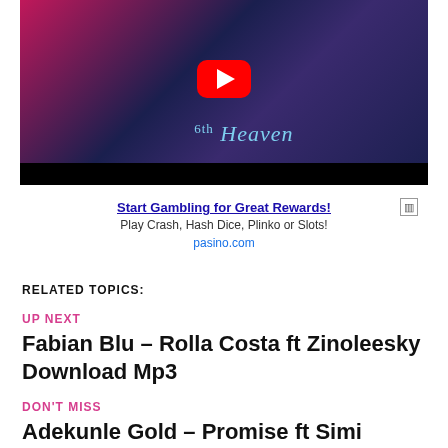[Figure (screenshot): YouTube video thumbnail for '6th Heaven' music video. Dark blue and pink/magenta gradient background showing a face with heavy makeup split between pink and blue lighting. A red YouTube play button is centered in the image. Script text '6th Heaven' appears at the bottom center. A black bar runs along the very bottom.]
Start Gambling for Great Rewards!
Play Crash, Hash Dice, Plinko or Slots!
pasino.com
RELATED TOPICS:
UP NEXT
Fabian Blu – Rolla Costa ft Zinoleesky Download Mp3
DON'T MISS
Adekunle Gold – Promise ft Simi